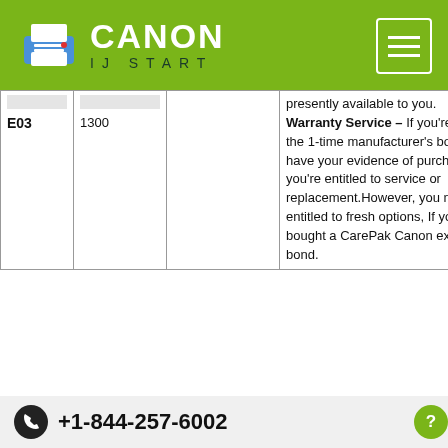[Figure (logo): Canon IJ Start logo with printer icon on green background header bar]
| Error Code | Model | Column3 | Description |
| --- | --- | --- | --- |
| E03 | 1300 |  | presently available to you. Warranty Service – If you're within the 1-time manufacturer's bond and have your evidence of purchase you're entitled to service or replacement.However, you may be entitled to fresh options, If you have bought a CarePak Canon extended bond. |
+1-844-257-6002